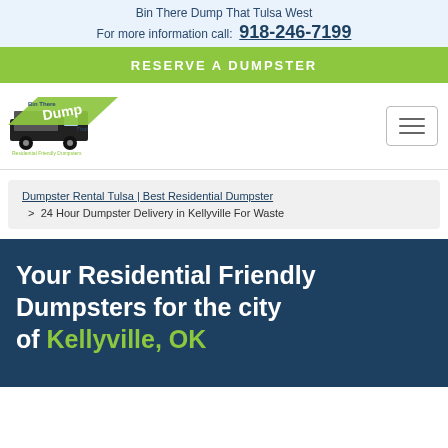Bin There Dump That Tulsa West
For more information call: 918-246-7199
RESERVE A DUMPSTER
[Figure (logo): Bin There Dump That logo with truck and green diagonal banner. Text reads 'Residential Friendly Dumpsters'.]
Breadcrumb navigation with hamburger menu icon
Dumpster Rental Tulsa | Best Residential Dumpster > 24 Hour Dumpster Delivery in Kellyville For Waste
Your Residential Friendly Dumpsters for the city of Kellyville, OK